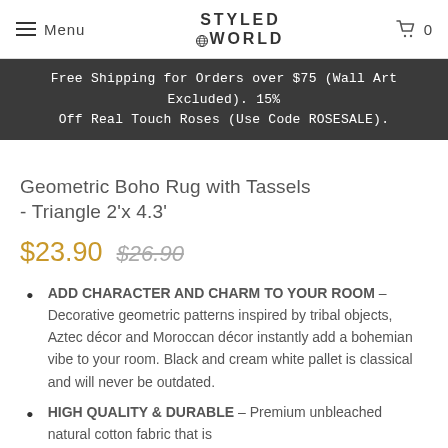Menu | STYLED WORLD | 0
Free Shipping for Orders over $75 (Wall Art Excluded). 15% Off Real Touch Roses (Use Code ROSESALE).
Geometric Boho Rug with Tassels - Triangle 2'x 4.3'
$23.90  $26.90
ADD CHARACTER AND CHARM TO YOUR ROOM – Decorative geometric patterns inspired by tribal objects, Aztec décor and Moroccan décor instantly add a bohemian vibe to your room. Black and cream white pallet is classical and will never be outdated.
HIGH QUALITY & DURABLE – Premium unbleached natural cotton fabric that is